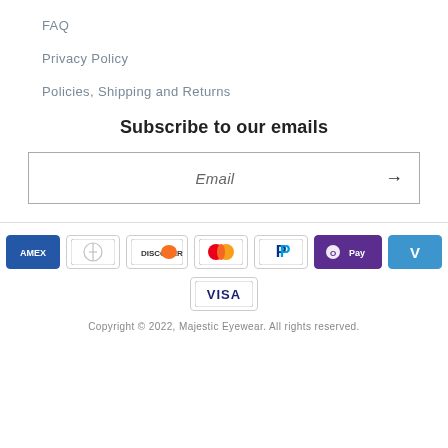FAQ
Privacy Policy
Policies, Shipping and Returns
Subscribe to our emails
Email
[Figure (infographic): Payment method icons: American Express, Diners Club, Discover, Mastercard, PayPal, Apple Pay (O Pay), Venmo, Visa]
Copyright © 2022, Majestic Eyewear. All rights reserved.